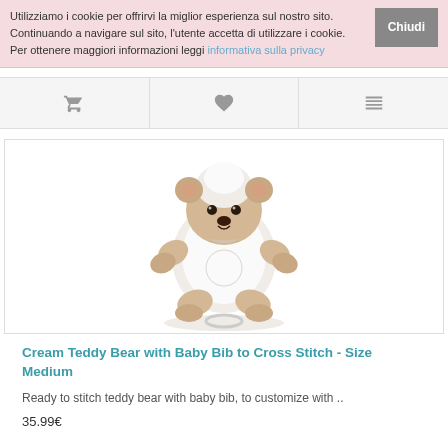Utilizziamo i cookie per offrirvi la miglior esperienza sul nostro sito. Continuando a navigare sul sito, l'utente accetta di utilizzare i cookie. Per ottenere maggiori informazioni leggi informativa sulla privacy
[Figure (other): Navigation icon bar with shopping cart, heart/wishlist, and compare icons]
[Figure (photo): Cream teddy bear plush toy with baby bib, white and beige colors, sitting pose]
Cream Teddy Bear with Baby Bib to Cross Stitch - Size Medium
Ready to stitch teddy bear with baby bib, to customize with ..
35.99€